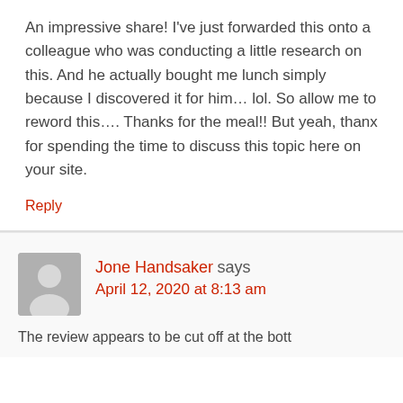An impressive share! I've just forwarded this onto a colleague who was conducting a little research on this. And he actually bought me lunch simply because I discovered it for him… lol. So allow me to reword this…. Thanks for the meal!! But yeah, thanx for spending the time to discuss this topic here on your site.
Reply
Jone Handsaker says
April 12, 2020 at 8:13 am
The review appears to be cut off at the bottom of the page.